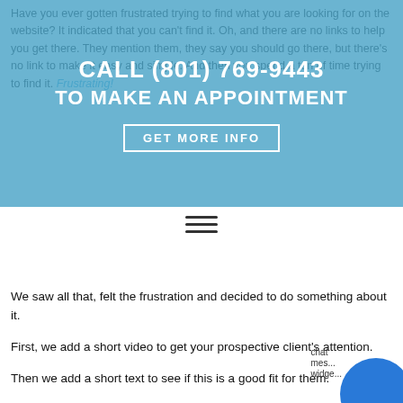Have you ever gotten frustrated trying to find what you are looking for on the website? It indicated that you can't find it. Oh, and there are no links to help you get there. They mention them, they say you should go there, but there's no link to make it easy and simple. And then you spend a ton of time trying to find it. Frustrating!
[Figure (infographic): Blue translucent banner overlay with white bold text: CALL (801) 769-9443 / TO MAKE AN APPOINTMENT / GET MORE INFO button]
[Figure (other): Hamburger menu icon (three horizontal lines)]
We saw all that, felt the frustration and decided to do something about it.
First, we add a short video to get your prospective client's attention.
Then we add a short text to see if this is a good fit for them.
Next we add links or they can fill in 3 short bits of information to have you contact them.  You know your product so contacting them because they wanted you to turns into a new paying client.  How great is that.
How was it done?  Simple!  With a simple vs regular website that makes it simple for clients to come to you.
[Figure (other): Blue circular chat widget button in bottom right corner with partial text 'chat mes... widge...']